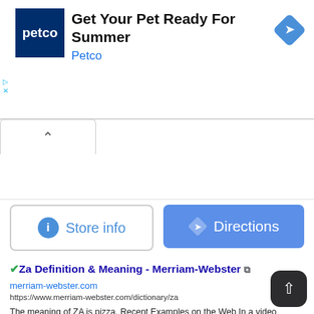[Figure (screenshot): Petco advertisement banner with logo, headline 'Get Your Pet Ready For Summer', brand name 'Petco', and a blue diamond directions icon]
[Figure (screenshot): UI element: collapse caret (^) button and two action buttons: 'Store info' and 'Directions']
Za Definition & Meaning - Merriam-Webster
merriam-webster.com
https://www.merriam-webster.com/dictionary/za
The meaning of ZA is pizza. Recent Examples on the Web In a video posted by a fan account on Twitter (and, presumably, other places), Perry plates and then frisbee-style tosses a slice of pepperoni za to fans who are about 10 feet away from her. — Elizabeth Logan, Glamour, 2022 Give the delivery guy the day off and try some homemade 'za why don't ya